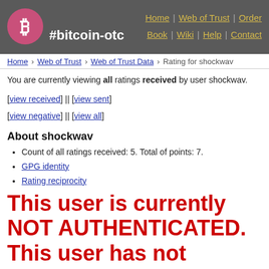#bitcoin-otc | Home | Web of Trust | Order Book | Wiki | Help | Contact
Home › Web of Trust › Web of Trust Data › Rating for shockwav
You are currently viewing all ratings received by user shockwav.
[view received] || [view sent]
[view negative] || [view all]
About shockwav
Count of all ratings received: 5. Total of points: 7.
GPG identity
Rating reciprocity
This user is currently NOT AUTHENTICATED. This user has not authenticated for more than 3401 days. If you are currently